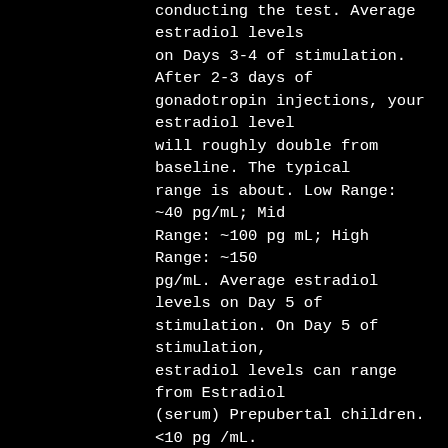conducting the test. Average estradiol levels on Days 3-4 of stimulation. After 2-3 days of gonadotropin injections, your estradiol level will roughly double from baseline. The typical range is about. Low Range: ~40 pg/mL; Mid Range: ~100 pg mL; High Range: ~150 pg/mL. Average estradiol levels on Day 5 of stimulation. On Day 5 of stimulation, estradiol levels can range from Estradiol (serum) Prepubertal children. <10 pg /mL. Male. < 60 pg /mL. Females ovulating. Early follicular. Optimal Result: 45.4 - 1461 pmol/L, or 12.37 - 397.98 pg/mL. Estradiol (Estrogen) is a female hormone, produced primarily in the ovary. The amount of estrogen produced depends on the phase of the menstrual cycle. Men also produce estradiol, but only very small amounts. Shortly before ovulation, estradiol levels surge and then fall immediately. Just before ovulation, normal estradiol levels can range from 110 to 410 pg/mL. Ideally, estradiol